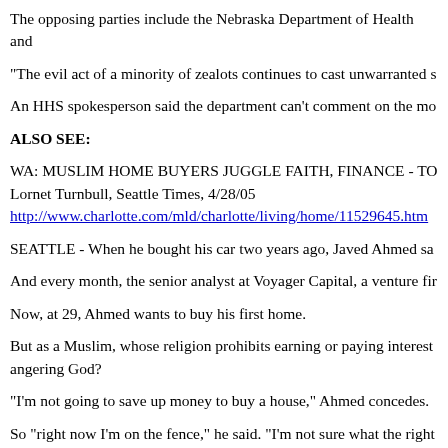The opposing parties include the Nebraska Department of Health and
"The evil act of a minority of zealots continues to cast unwarranted s
An HHS spokesperson said the department can't comment on the mo
ALSO SEE:
WA: MUSLIM HOME BUYERS JUGGLE FAITH, FINANCE - TO
Lornet Turnbull, Seattle Times, 4/28/05
http://www.charlotte.com/mld/charlotte/living/home/11529645.htm
SEATTLE - When he bought his car two years ago, Javed Ahmed sa
And every month, the senior analyst at Voyager Capital, a venture fir
Now, at 29, Ahmed wants to buy his first home.
But as a Muslim, whose religion prohibits earning or paying interest angering God?
"I'm not going to save up money to buy a house," Ahmed concedes.
So "right now I'm on the fence," he said. "I'm not sure what the right